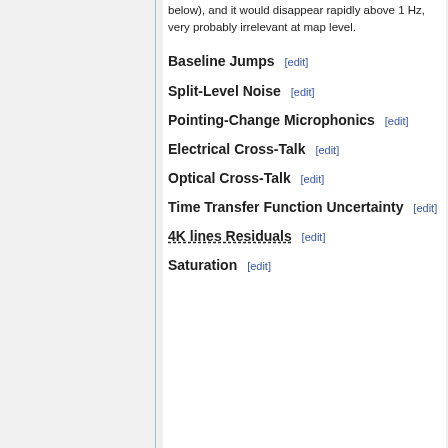below), and it would disappear rapidly above 1 Hz, very probably irrelevant at map level.
Baseline Jumps [edit]
Split-Level Noise [edit]
Pointing-Change Microphonics [edit]
Electrical Cross-Talk [edit]
Optical Cross-Talk [edit]
Time Transfer Function Uncertainty [edit]
4K lines Residuals [edit]
Saturation [edit]